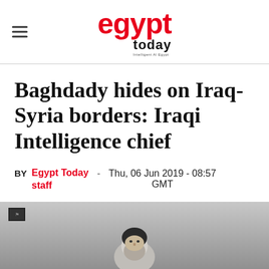egypt today
Baghdady hides on Iraq-Syria borders: Iraqi Intelligence chief
BY Egypt Today staff - Thu, 06 Jun 2019 - 08:57 GMT
[Figure (photo): Photo of a bearded man wearing a black head covering, with a black flag visible in the background left corner. Gray/muted background.]